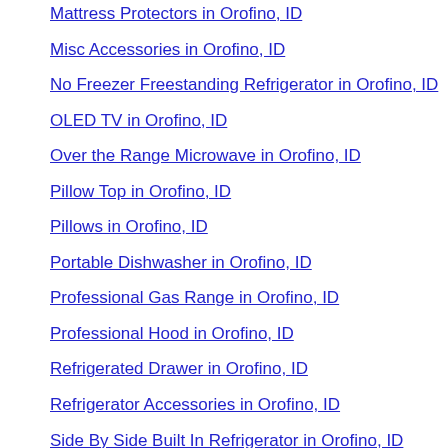Mattress Protectors in Orofino, ID
Misc Accessories in Orofino, ID
No Freezer Freestanding Refrigerator in Orofino, ID
OLED TV in Orofino, ID
Over the Range Microwave in Orofino, ID
Pillow Top in Orofino, ID
Pillows in Orofino, ID
Portable Dishwasher in Orofino, ID
Professional Gas Range in Orofino, ID
Professional Hood in Orofino, ID
Refrigerated Drawer in Orofino, ID
Refrigerator Accessories in Orofino, ID
Side By Side Built In Refrigerator in Orofino, ID